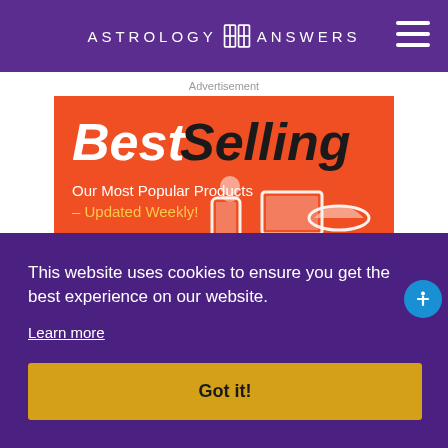ASTROLOGY ANSWERS
Advertisement
[Figure (illustration): Orange advertisement banner with bold italic text 'BestSelling', subtitle 'Our Most Popular Products – Updated Weekly!' with product icons (phone, laptop, hat, tablet) in white silhouette on orange background.]
This website uses cookies to ensure you get the best experience on our website.
Learn more
Got it!
Dictionary